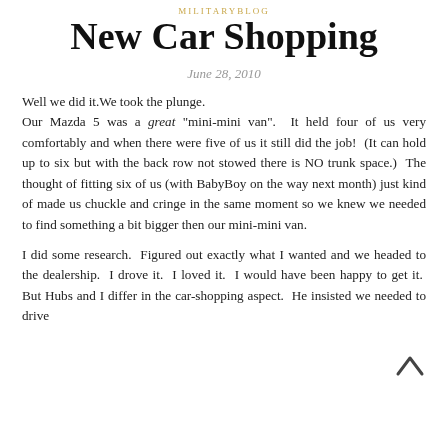MILITARYBLOG
New Car Shopping
June 28, 2010
Well we did it.We took the plunge.
Our Mazda 5 was a great "mini-mini van".  It held four of us very comfortably and when there were five of us it still did the job!  (It can hold up to six but with the back row not stowed there is NO trunk space.)  The thought of fitting six of us (with BabyBoy on the way next month) just kind of made us chuckle and cringe in the same moment so we knew we needed to find something a bit bigger then our mini-mini van.

I did some research.  Figured out exactly what I wanted and we headed to the dealership.  I drove it.  I loved it.  I would have been happy to get it.  But Hubs and I differ in the car-shopping aspect.  He insisted we needed to drive